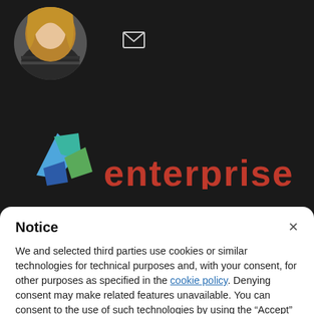[Figure (screenshot): Dark background website header with circular profile photo of a woman with long blonde hair, an email envelope icon, a colorful geometric logo, and partial red enterprise text]
Notice
We and selected third parties use cookies or similar technologies for technical purposes and, with your consent, for other purposes as specified in the cookie policy. Denying consent may make related features unavailable. You can consent to the use of such technologies by using the “Accept” button or by closing this notice.
Accept
Learn more and customise